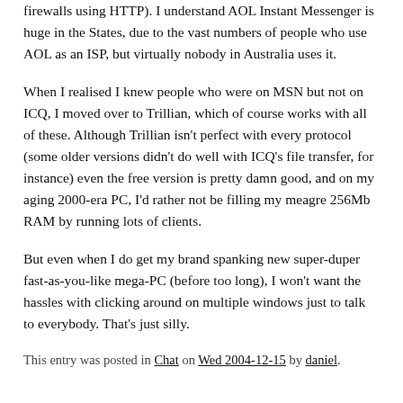firewalls using HTTP). I understand AOL Instant Messenger is huge in the States, due to the vast numbers of people who use AOL as an ISP, but virtually nobody in Australia uses it.
When I realised I knew people who were on MSN but not on ICQ, I moved over to Trillian, which of course works with all of these. Although Trillian isn't perfect with every protocol (some older versions didn't do well with ICQ's file transfer, for instance) even the free version is pretty damn good, and on my aging 2000-era PC, I'd rather not be filling my meagre 256Mb RAM by running lots of clients.
But even when I do get my brand spanking new super-duper fast-as-you-like mega-PC (before too long), I won't want the hassles with clicking around on multiple windows just to talk to everybody. That's just silly.
This entry was posted in Chat on Wed 2004-12-15 by daniel.